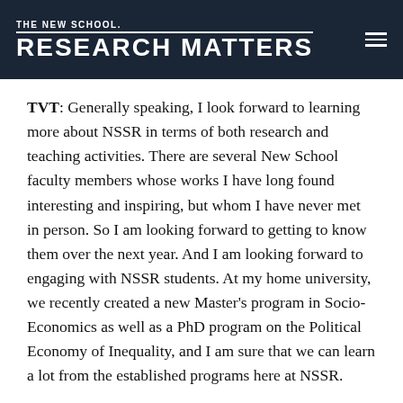THE NEW SCHOOL. RESEARCH MATTERS
TVT: Generally speaking, I look forward to learning more about NSSR in terms of both research and teaching activities. There are several New School faculty members whose works I have long found interesting and inspiring, but whom I have never met in person. So I am looking forward to getting to know them over the next year. And I am looking forward to engaging with NSSR students. At my home university, we recently created a new Master's program in Socio-Economics as well as a PhD program on the Political Economy of Inequality, and I am sure that we can learn a lot from the established programs here at NSSR.
On a personal level, the Heuss Professorship opportunity comes very timely for me. In the past few years, I had many